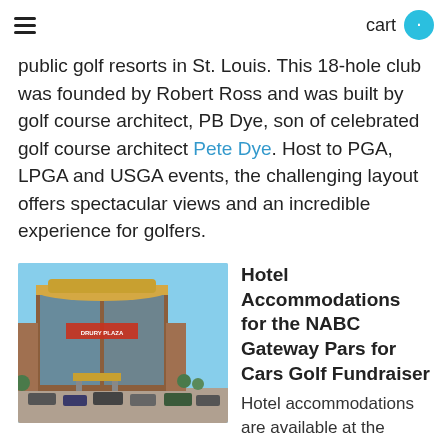cart
public golf resorts in St. Louis. This 18-hole club was founded by Robert Ross and was built by golf course architect, PB Dye, son of celebrated golf course architect Pete Dye. Host to PGA, LPGA and USGA events, the challenging layout offers spectacular views and an incredible experience for golfers.
[Figure (photo): Photo of a tall multi-story hotel building (Drury Inn) with a curved facade, glass windows, and cars parked in front under a blue sky.]
Hotel Accommodations for the NABC Gateway Pars for Cars Golf Fundraiser
Hotel accommodations are available at the Drury Inn in Chesterfield, MO, with special pricing for NABC...